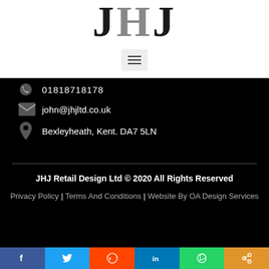[Figure (logo): JHJ logo text in serif font, black letters with gray H]
[Figure (other): Hamburger menu button (three horizontal lines) on light gray background]
01818718178
john@jhjltd.co.uk
Bexleyheath, Kent. DA7 5LN
JHJ Retail Design Ltd © 2020 All Rights Reserved
Privacy Policy | Terms And Conditions | Website By OA Design Services
[Figure (other): Social sharing bar with Facebook, Twitter, Reddit, LinkedIn, WhatsApp, and share icons]